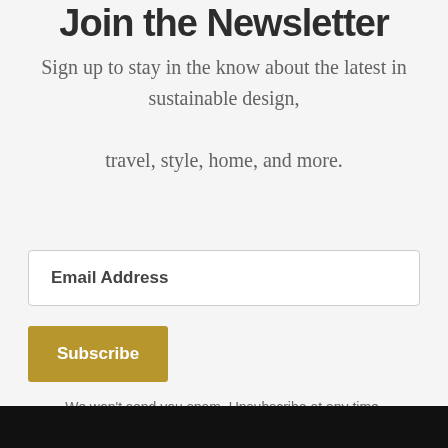Join the Newsletter
Sign up to stay in the know about the latest in sustainable design, travel, style, home, and more.
Email Address
Subscribe
We won't send you spam. Unsubscribe at any time.